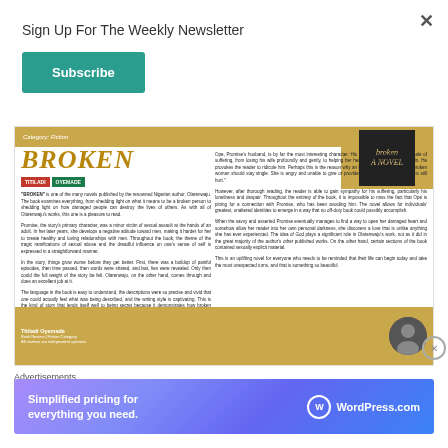Sign Up For The Weekly Newsletter
Subscribe
[Figure (screenshot): Article page screenshot showing a book review for BROKEN by Titiladi Oyemade. Contains the book title in large gold italic text, author badge, and two columns of review text discussing the novel.]
Advertisements
[Figure (screenshot): WordPress.com advertisement banner: Simplified pricing for everything you need. WordPress.com]